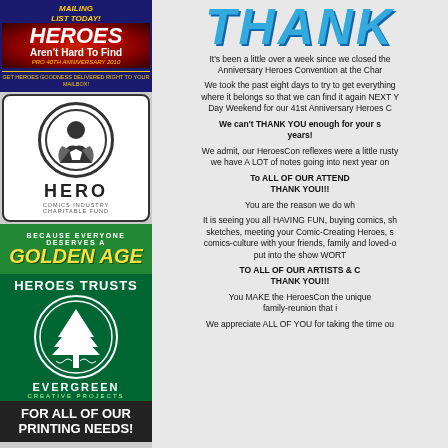[Figure (illustration): Heroes Aren't Hard To Find mailing list advertisement with blue background and star motif]
[Figure (logo): Hero Initiative circular logo with superhero silhouette]
[Figure (illustration): Golden Age advertisement on green background - Because Everyone Deserves a Golden Age]
[Figure (illustration): Heroes Trusts / Evergreen Creative Projects advertisement on dark green background with tree logo]
THANK
It's been a little over a week since we closed the Anniversary Heroes Convention at the Char
We took the past eight days to try to get everything where it belongs so that we can find it again NEXT Y Day Weekend for our 41st Anniversary Heroes C
We can't THANK YOU enough for your s years!
We admit, our HeroesCon reflexes were a little rusty we have A LOT of notes going into next year on
To ALL OF OUR ATTEND THANK YOU!!! You are the reason we do wh It is seeing you all HAVING FUN, buying comics, sh sketches, meeting your Comic-Creating Heroes, s comics-culture with your friends, family and loved-o put into the show WORT
TO ALL OF OUR ARTISTS & C THANK YOU!!! You MAKE the HeroesCon the unique family-reunion that i We appreciate ALL OF YOU for taking the time ou